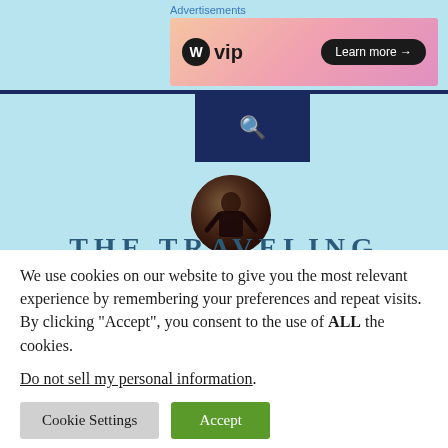[Figure (screenshot): WordPress VIP advertisement banner with gradient background, logo and Learn more button]
[Figure (screenshot): Website screenshot showing light blue background with dark navy navigation bar, search icon box, circular profile photo, and partial site title THE TRAVELING]
We use cookies on our website to give you the most relevant experience by remembering your preferences and repeat visits. By clicking “Accept”, you consent to the use of ALL the cookies.
Do not sell my personal information.